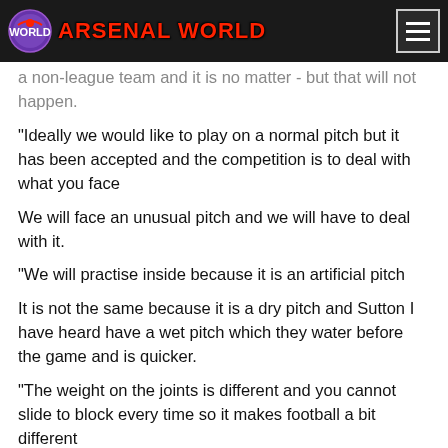ARSENAL WORLD
a non-league team and it is no matter - but that will not happen.
"Ideally we would like to play on a normal pitch but it has been accepted and the competition is to deal with what you face
We will face an unusual pitch and we will have to deal with it.
"We will practise inside because it is an artificial pitch
It is not the same because it is a dry pitch and Sutton I have heard have a wet pitch which they water before the game and is quicker.
"The weight on the joints is different and you cannot slide to block every time so it makes football a bit different